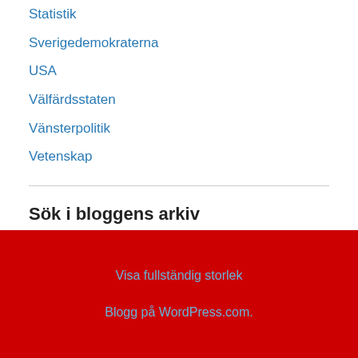Statistik
Sverigedemokraterna
USA
Välfärdsstaten
Vänsterpolitik
Vetenskap
Sök i bloggens arkiv
Visa fullständig storlek
Blogg på WordPress.com.